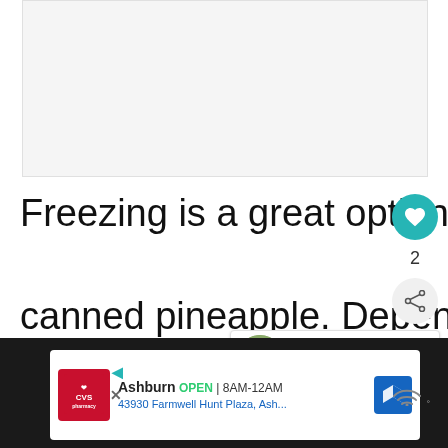[Figure (photo): Light gray placeholder image box at the top of the page]
Freezing is a great option to stow away canned pineapple. Depending on how you want to freeze it, there are different methods.
[Figure (screenshot): UI overlay showing a teal heart like button with count 2, a share button, and a What's Next recommendation card for 'Can You Freeze Ranc...']
[Figure (screenshot): Dark footer bar with CVS Pharmacy advertisement: Ashburn OPEN 8AM-12AM, 43930 Farmwell Hunt Plaza, Ash...]